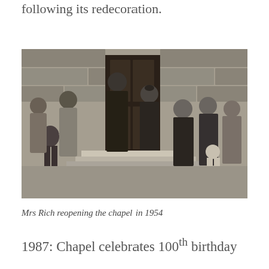following its redecoration.
[Figure (photo): Black and white photograph of Mrs Rich reopening the chapel in 1954. Several people are gathered outside a stone chapel doorway. A woman in dark clothing stands in the doorway. Men in suits and clergy attire and women stand nearby. A small child is visible in the foreground right.]
Mrs Rich reopening the chapel in 1954
1987: Chapel celebrates 100th birthday